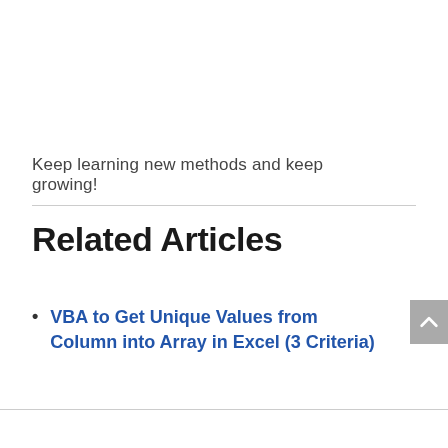Keep learning new methods and keep growing!
Related Articles
VBA to Get Unique Values from Column into Array in Excel (3 Criteria)